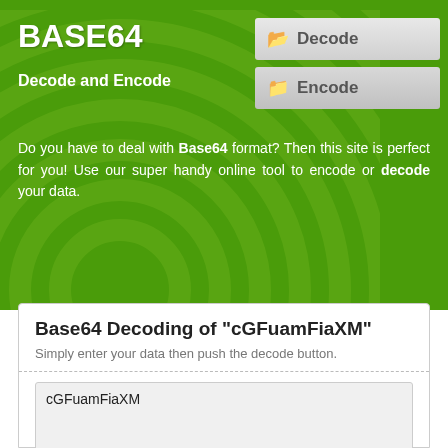BASE64
Decode and Encode
[Figure (screenshot): Navigation buttons: Decode (active, light gray) and Encode (darker gray) with folder icons]
Do you have to deal with Base64 format? Then this site is perfect for you! Use our super handy online tool to encode or decode your data.
Base64 Decoding of "cGFuamFiaXM"
Simply enter your data then push the decode button.
cGFuamFiaXM